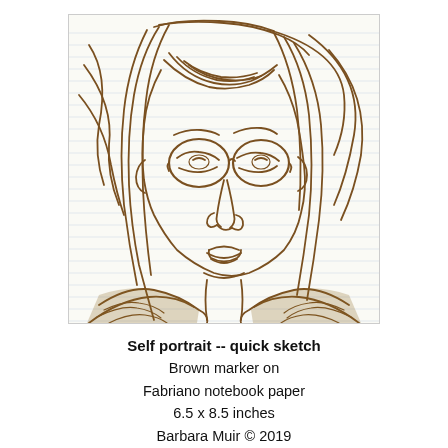[Figure (illustration): A quick sketch self-portrait drawn in brown marker on lined Fabriano notebook paper. The drawing shows a woman with bangs, round glasses, and shoulder-length hair, depicted from the shoulders up. The background shows horizontal ruled lines of the notebook paper. The sketching style is loose and gestural with brown ink lines.]
Self portrait -- quick sketch
Brown marker on
Fabriano notebook paper
6.5 x 8.5 inches
Barbara Muir © 2019